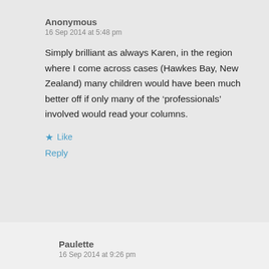Anonymous
16 Sep 2014 at 5:48 pm
Simply brilliant as always Karen, in the region where I come across cases (Hawkes Bay, New Zealand) many children would have been much better off if only many of the ‘professionals’ involved would read your columns.
★ Like
Reply
Paulette
16 Sep 2014 at 9:26 pm
I totally agree my husband has